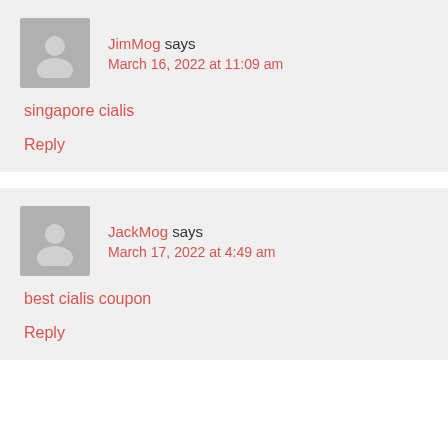JimMog says
March 16, 2022 at 11:09 am
singapore cialis
Reply
JackMog says
March 17, 2022 at 4:49 am
best cialis coupon
Reply